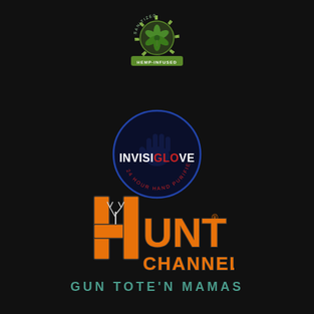[Figure (logo): Sanitizer Hemp-Infused logo - circular badge with green cannabis leaf and banner text]
[Figure (logo): InvisiGlove logo - dark blue circle with hand silhouette, text INVISIGLOVE in white and red, tagline 24 HOUR HAND PURIFIER in red]
[Figure (logo): Hunt Channel logo - orange block letter H with deer antler graphic, text HUNT CHANNEL in orange with dark outline]
GUN TOTE'N MAMAS